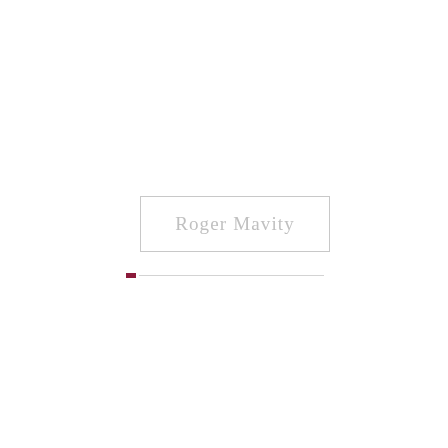Roger Mavity
[Figure (other): Horizontal decorative line with a small red/maroon square accent on the left end]